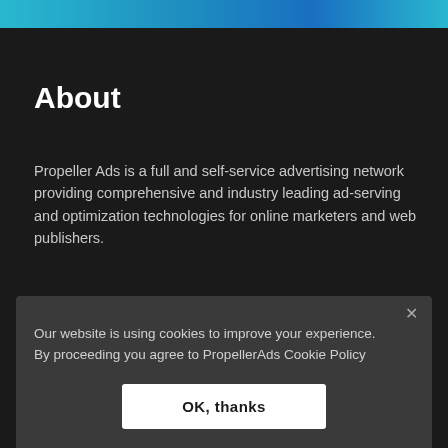About
Propeller Ads is a full and self-service advertising network providing comprehensive and industry leading ad-serving and optimization technologies for online marketers and web publishers.
Our website is using cookies to improve your experience. By proceeding you agree to PropellerAds Cookie Policy
OK, thanks